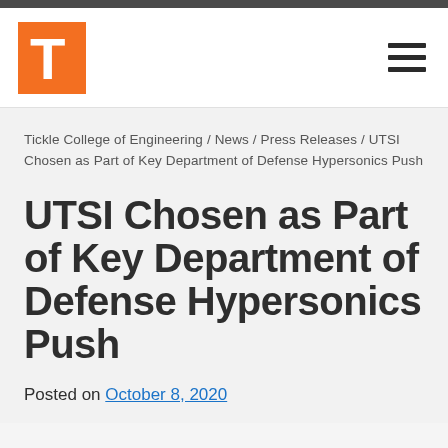University of Tennessee – Tickle College of Engineering
Tickle College of Engineering / News / Press Releases / UTSI Chosen as Part of Key Department of Defense Hypersonics Push
UTSI Chosen as Part of Key Department of Defense Hypersonics Push
Posted on October 8, 2020